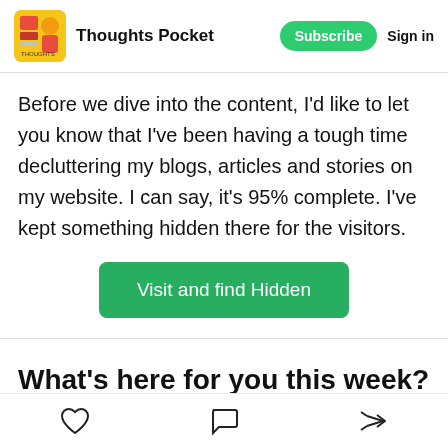Thoughts Pocket | Subscribe | Sign in
Before we dive into the content, I'd like to let you know that I've been having a tough time decluttering my blogs, articles and stories on my website. I can say, it's 95% complete. I've kept something hidden there for the visitors.
Visit and find Hidden
What's here for you this week?
Like | Comment | Share